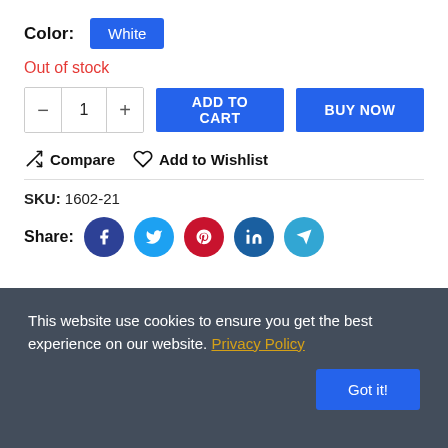Color: White
Out of stock
- 1 + ADD TO CART BUY NOW
Compare  Add to Wishlist
SKU: 1602-21
Share:
This website use cookies to ensure you get the best experience on our website. Privacy Policy
Got it!